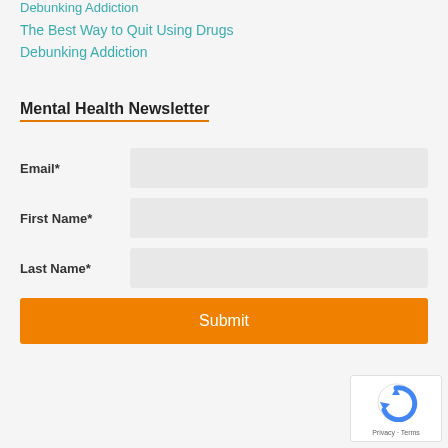Debunking Addiction
The Best Way to Quit Using Drugs
Debunking Addiction
Mental Health Newsletter
Email*
First Name*
Last Name*
Submit
[Figure (logo): reCAPTCHA widget with Privacy and Terms links]